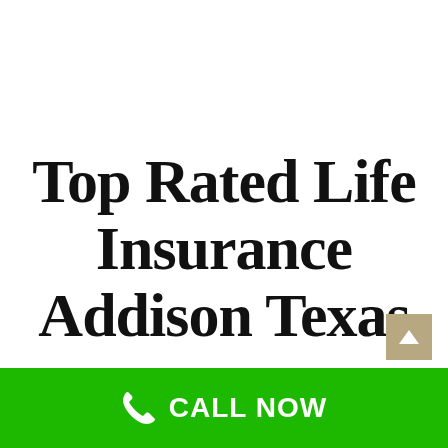Top Rated Life Insurance Addison Texas
When you purchase a life insurance policy, you are making an agreement with an insurance company. As the policy holder, you are the one who designates beneficiaries upon your death. Try to buy as much life insurance as you can to protect your survivors. At Royalty Insurance, we are your top rated provider for many types
CALL NOW